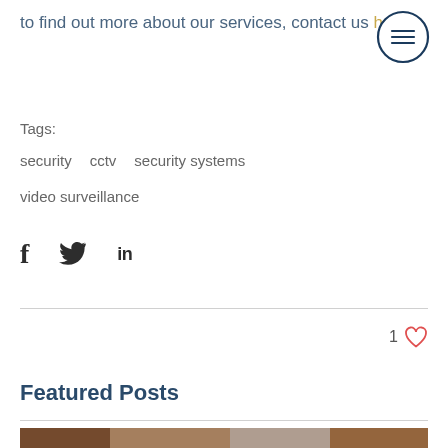to find out more about our services, contact us here.
Tags:
security   cctv   security systems
video surveillance
[Figure (illustration): Social share icons: Facebook (f), Twitter (bird), LinkedIn (in)]
[Figure (illustration): Like button with heart icon showing count 1]
Featured Posts
[Figure (photo): Photo of a CCTV sign on a brick wall]